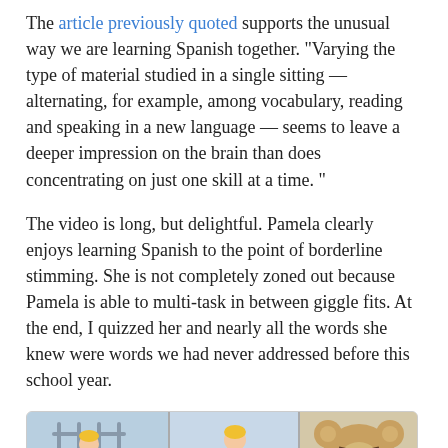The article previously quoted supports the unusual way we are learning Spanish together. "Varying the type of material studied in a single sitting — alternating, for example, among vocabulary, reading and speaking in a new language — seems to leave a deeper impression on the brain than does concentrating on just one skill at a time. "
The video is long, but delightful. Pamela clearly enjoys learning Spanish to the point of borderline stimming. She is not completely zoned out because Pamela is able to multi-task in between giggle fits. At the end, I quizzed her and nearly all the words she knew were words we had never addressed before this school year.
[Figure (photo): A collage of four cartoon/illustrated panels arranged in a 2x2 grid inside a rounded border. Top-left: cartoon child in a cage-like structure with colorful clothing. Top-middle: similar cartoon child sitting. Top-right: close-up of a bear character's face looking angry or surprised. Bottom-left: cartoon character with red hair. Bottom-middle: text 'BUAM!' in teal/cyan letters with cartoon figures. Bottom-right: bear character again.]